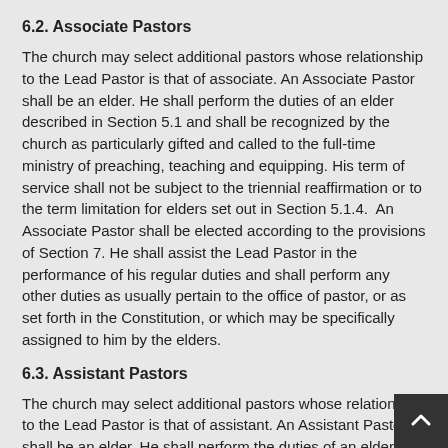6.2. Associate Pastors
The church may select additional pastors whose relationship to the Lead Pastor is that of associate. An Associate Pastor shall be an elder. He shall perform the duties of an elder described in Section 5.1 and shall be recognized by the church as particularly gifted and called to the full-time ministry of preaching, teaching and equipping. His term of service shall not be subject to the triennial reaffirmation or to the term limitation for elders set out in Section 5.1.4.  An Associate Pastor shall be elected according to the provisions of Section 7. He shall assist the Lead Pastor in the performance of his regular duties and shall perform any other duties as usually pertain to the office of pastor, or as set forth in the Constitution, or which may be specifically assigned to him by the elders.
6.3. Assistant Pastors
The church may select additional pastors whose relationship to the Lead Pastor is that of assistant. An Assistant Pastor shall be an elder. He shall perform the duties of an elder described in Section 5.1 and shall be recognized by the church as particularly gifted and called to the full-time ministry of preaching and teaching. He shall